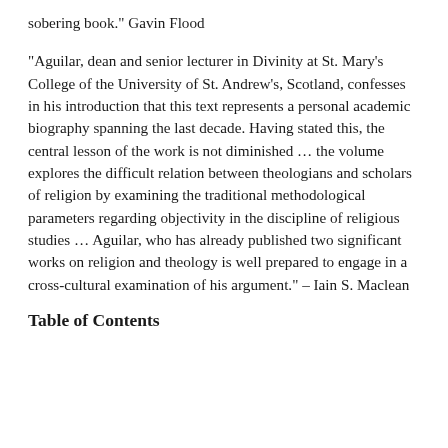sobering book." Gavin Flood
“Aguilar, dean and senior lecturer in Divinity at St. Mary’s College of the University of St. Andrew’s, Scotland, confesses in his introduction that this text represents a personal academic biography spanning the last decade. Having stated this, the central lesson of the work is not diminished … the volume explores the difficult relation between theologians and scholars of religion by examining the traditional methodological parameters regarding objectivity in the discipline of religious studies … Aguilar, who has already published two significant works on religion and theology is well prepared to engage in a cross-cultural examination of his argument.” – Iain S. Maclean
Table of Contents